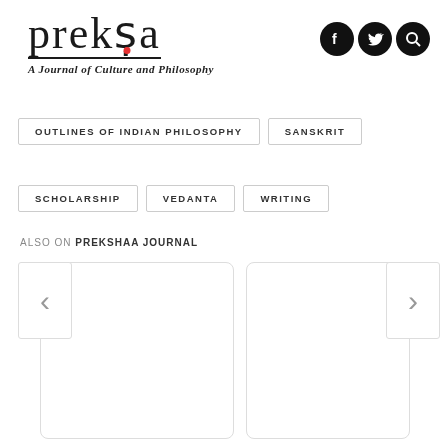[Figure (logo): Preksa journal logo with serif text and red dot diacritic, tagline 'A Journal of Culture and Philosophy']
[Figure (infographic): Three black circular social media icons: Facebook, Twitter, Search]
OUTLINES OF INDIAN PHILOSOPHY
SANSKRIT
SCHOLARSHIP
VEDANTA
WRITING
ALSO ON PREKSHAA JOURNAL
[Figure (screenshot): Two card placeholders with left and right navigation arrows for article carousel]